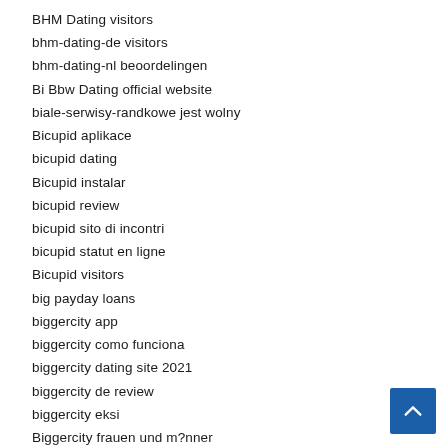BHM Dating visitors
bhm-dating-de visitors
bhm-dating-nl beoordelingen
Bi Bbw Dating official website
biale-serwisy-randkowe jest wolny
Bicupid aplikace
bicupid dating
Bicupid instalar
bicupid review
bicupid sito di incontri
bicupid statut en ligne
Bicupid visitors
big payday loans
biggercity app
biggercity como funciona
biggercity dating site 2021
biggercity de review
biggercity eksi
Biggercity frauen und m?nner
biggercity review
biggercity reviews
biggercity sign in
biggercity username
biggercity visitors